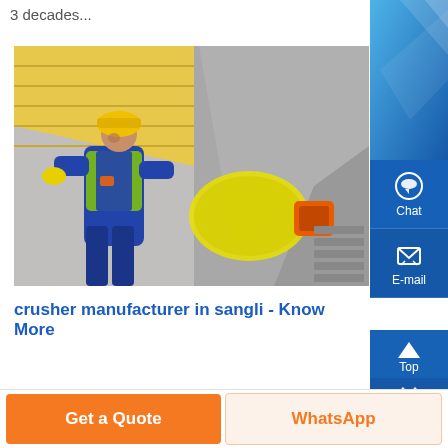3 decades...
[Figure (photo): Worker in yellow hard hat and high-visibility vest working on industrial machinery, appears to be a crushing or grinding machine with large cylindrical drum, orange coupling, and metal casing.]
crusher manufacturer in sangli - Know More
Get a Quote
WhatsApp